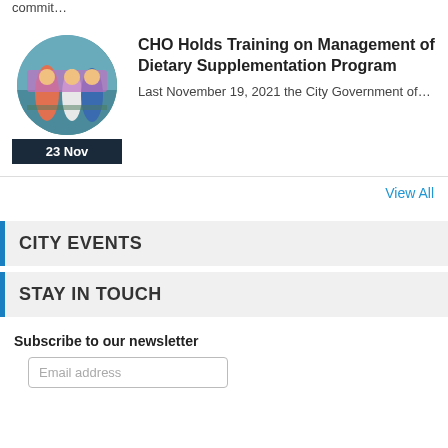commit…
[Figure (photo): Group of people outdoors with a purple banner, circular thumbnail image]
23 Nov
CHO Holds Training on Management of Dietary Supplementation Program
Last November 19, 2021 the City Government of…
View All
CITY EVENTS
STAY IN TOUCH
Subscribe to our newsletter
Email address